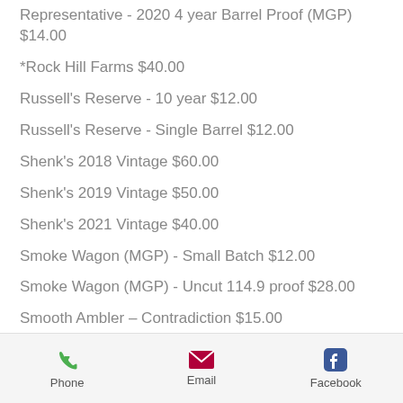Representative - 2020 4 year Barrel Proof (MGP)  $14.00
*Rock Hill Farms  $40.00
Russell's Reserve - 10 year  $12.00
Russell's Reserve - Single Barrel  $12.00
Shenk's 2018 Vintage  $60.00
Shenk's 2019 Vintage  $50.00
Shenk's 2021 Vintage  $40.00
Smoke Wagon (MGP) - Small Batch  $12.00
Smoke Wagon (MGP) - Uncut 114.9 proof  $28.00
Smooth Ambler – Contradiction  $15.00
Phone  Email  Facebook